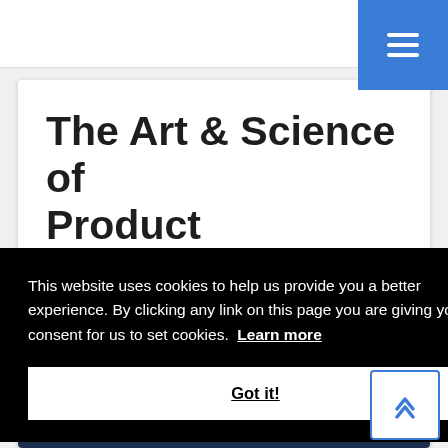[Figure (screenshot): Navigation top bar with white background]
[Figure (screenshot): Blue hamburger menu button with three white horizontal lines]
The Art & Science of Product Management
This website uses cookies to help us provide you a better experience. By clicking any link on this page you are giving your consent for us to set cookies. Learn more
Got it!